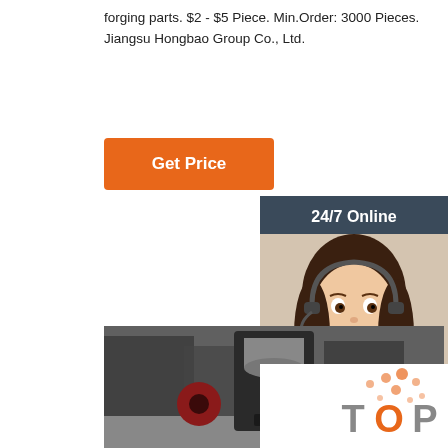forging parts. $2 - $5 Piece. Min.Order: 3000 Pieces. Jiangsu Hongbao Group Co., Ltd.
[Figure (other): Orange 'Get Price' button]
[Figure (other): Sidebar with '24/7 Online' text, female customer service representative photo with headset, 'Click here for free chat!' text, and orange 'QUOTATION' button]
[Figure (photo): Industrial forging machine in a factory setting, close-up view of a pneumatic/hydraulic hammer machine with metal cylindrical components]
[Figure (logo): Orange and grey 'TOP' logo with dot pattern in bottom right corner]